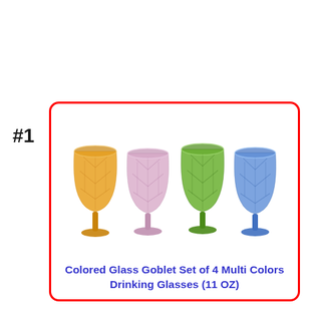#1
[Figure (photo): Four colored glass goblets with diamond pattern texture in amber/orange, pink/purple, green, and blue, each on a stem with a round base.]
Colored Glass Goblet Set of 4 Multi Colors Drinking Glasses (11 OZ)